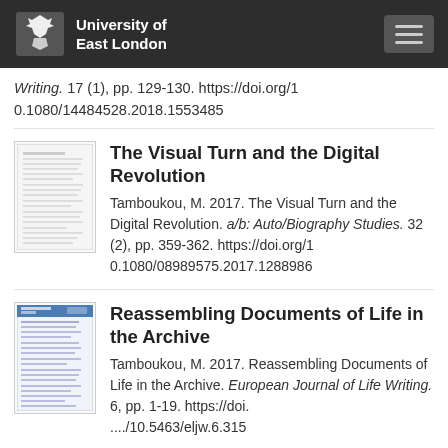[Figure (logo): University of East London logo with eagle crest and text 'University of East London']
Writing. 17 (1), pp. 129-130. https://doi.org/10.1080/14484528.2018.1553485
The Visual Turn and the Digital Revolution
Tamboukou, M. 2017. The Visual Turn and the Digital Revolution. a/b: Auto/Biography Studies. 32 (2), pp. 359-362. https://doi.org/10.1080/08989575.2017.1288986
Reassembling Documents of Life in the Archive
Tamboukou, M. 2017. Reassembling Documents of Life in the Archive. European Journal of Life Writing. 6, pp. 1-19. https://doi.